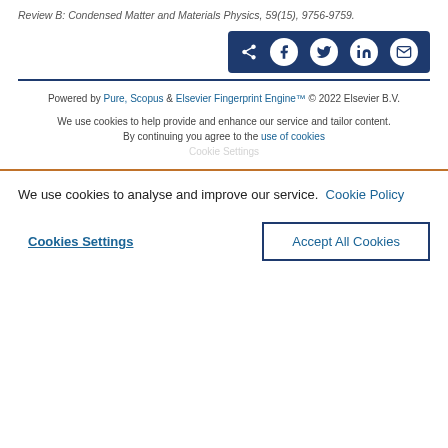Review B: Condensed Matter and Materials Physics, 59(15), 9756-9759.
[Figure (other): Share bar with social media icons: share, Facebook, Twitter, LinkedIn, email on dark blue background]
Powered by Pure, Scopus & Elsevier Fingerprint Engine™ © 2022 Elsevier B.V.
We use cookies to help provide and enhance our service and tailor content. By continuing you agree to the use of cookies
Cookie Settings (partially visible)
We use cookies to analyse and improve our service. Cookie Policy
Cookies Settings   Accept All Cookies